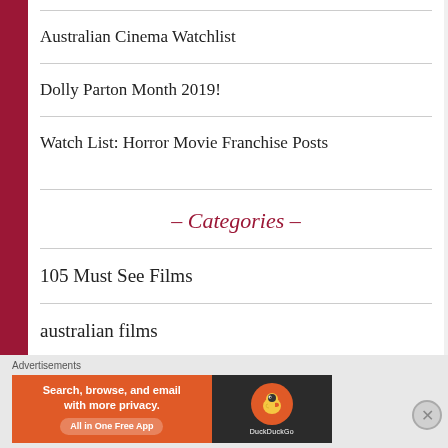Australian Cinema Watchlist
Dolly Parton Month 2019!
Watch List: Horror Movie Franchise Posts
– Categories –
105 Must See Films
australian films
[Figure (screenshot): DuckDuckGo advertisement banner: 'Search, browse, and email with more privacy. All in One Free App' with DuckDuckGo logo on dark background]
Advertisements